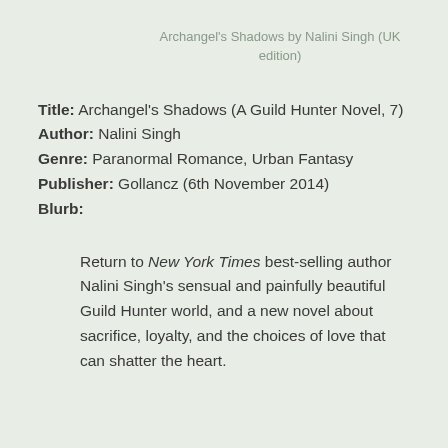Archangel's Shadows by Nalini Singh (UK edition)
Title: Archangel's Shadows (A Guild Hunter Novel, 7)
Author: Nalini Singh
Genre: Paranormal Romance, Urban Fantasy
Publisher: Gollancz (6th November 2014)
Blurb:
Return to New York Times best-selling author Nalini Singh's sensual and painfully beautiful Guild Hunter world, and a new novel about sacrifice, loyalty, and the choices of love that can shatter the heart.